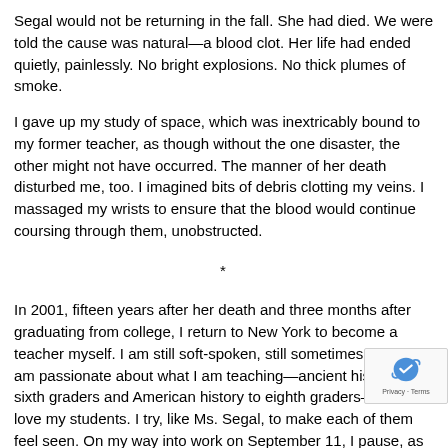Segal would not be returning in the fall. She had died. We were told the cause was natural—a blood clot. Her life had ended quietly, painlessly. No bright explosions. No thick plumes of smoke.
I gave up my study of space, which was inextricably bound to my former teacher, as though without the one disaster, the other might not have occurred. The manner of her death disturbed me, too. I imagined bits of debris clotting my veins. I massaged my wrists to ensure that the blood would continue coursing through them, unobstructed.
*
In 2001, fifteen years after her death and three months after graduating from college, I return to New York to become a teacher myself. I am still soft-spoken, still sometimes shy, but I am passionate about what I am teaching—ancient history to sixth graders and American history to eighth graders—and I love my students. I try, like Ms. Segal, to make each of them feel seen. On my way into work on September 11, I pause, as so many people do that morning, up at the sky, which is brilliantly blue, unusually so. And taking exceptional blue, I feel hopeful. I have made it through the fi of class. I have lesson plans laid out for the coming weeks. I am.